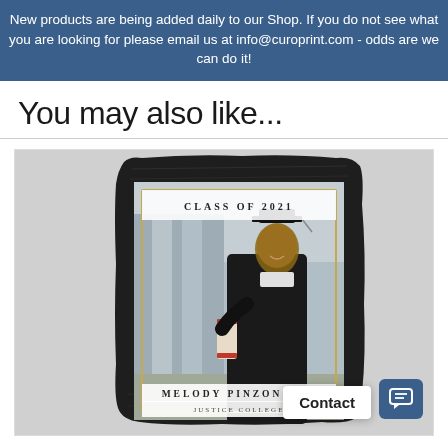New products are being added daily to our Shop. If you do not see what you are looking for please email us at info@curoprint.com - odds are we can do it!
You may also like...
[Figure (photo): A graduation slate photo product mockup showing a woman in cap and gown holding a diploma. The card reads 'CLASS OF 2021', 'MELODY PINZON', and 'JUSTICE COLLEGE' with a gold border frame on a dark slate background.]